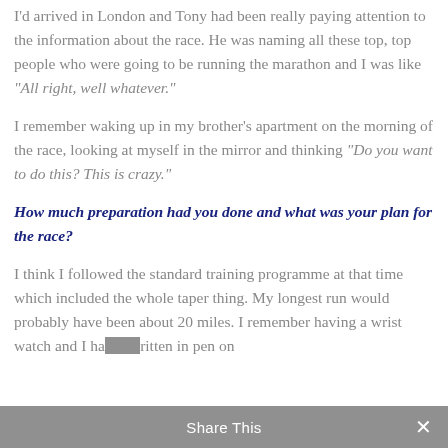I'd arrived in London and Tony had been really paying attention to the information about the race. He was naming all these top, top people who were going to be running the marathon and I was like "All right, well whatever."
I remember waking up in my brother's apartment on the morning of the race, looking at myself in the mirror and thinking "Do you want to do this? This is crazy."
How much preparation had you done and what was your plan for the race?
I think I followed the standard training programme at that time which included the whole taper thing. My longest run would probably have been about 20 miles. I remember having a wrist watch and I had it written in pen on
Share This ✕